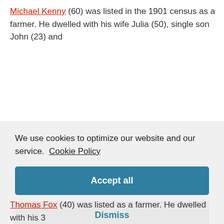Michael Kenny (60) was listed in the 1901 census as a farmer. He dwelled with his wife Julia (50), single son John (23) and
We use cookies to optimize our website and our service.  Cookie Policy
Accept all
Dismiss
Preferences
Thomas Fox (40) was listed as a farmer. He dwelled with his 3...